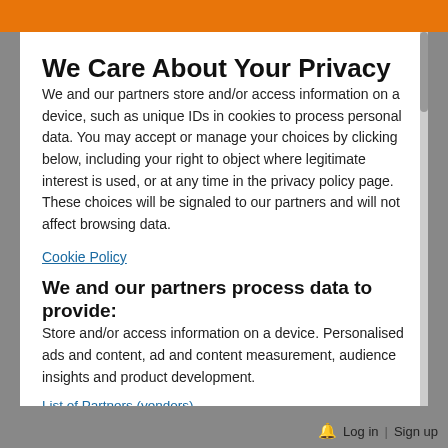We Care About Your Privacy
We and our partners store and/or access information on a device, such as unique IDs in cookies to process personal data. You may accept or manage your choices by clicking below, including your right to object where legitimate interest is used, or at any time in the privacy policy page. These choices will be signaled to our partners and will not affect browsing data.
Cookie Policy
We and our partners process data to provide:
Store and/or access information on a device. Personalised ads and content, ad and content measurement, audience insights and product development.
List of Partners (vendors)
Log in | Sign up